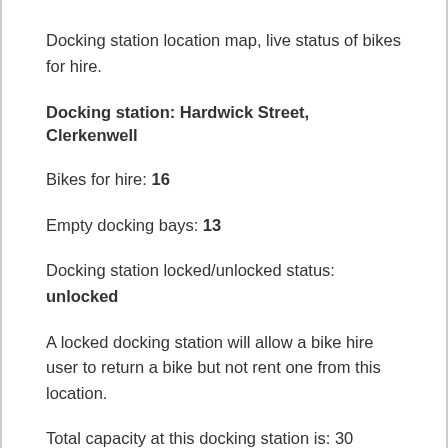Docking station location map, live status of bikes for hire.
Docking station: Hardwick Street, Clerkenwell
Bikes for hire: 16
Empty docking bays: 13
Docking station locked/unlocked status: unlocked
A locked docking station will allow a bike hire user to return a bike but not rent one from this location.
Total capacity at this docking station is: 30